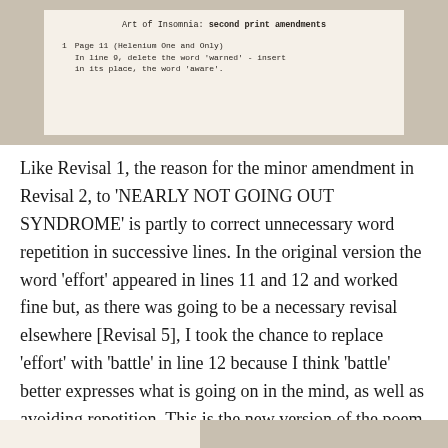[Figure (photo): Photograph of a printed document page titled 'Art of Insomnia: second print amendments' showing item 1: Page 11 (Helenium One and Only) - In line 9, delete the word 'warned' - insert in its place, the word 'aware'.]
Like Revisal 1, the reason for the minor amendment in Revisal 2, to 'NEARLY NOT GOING OUT SYNDROME' is partly to correct unnecessary word repetition in successive lines. In the original version the word 'effort' appeared in lines 11 and 12 and worked fine but, as there was going to be a necessary revisal elsewhere [Revisal 5], I took the chance to replace 'effort' with 'battle' in line 12 because I think 'battle' better expresses what is going on in the mind, as well as avoiding repetition. This is the new version of the poem from Section 2 (FRENCH RETREAT) of the chapbook 'Art of Insomnia'.
[Figure (photo): Partial photograph of another printed document page visible at the bottom of the image.]